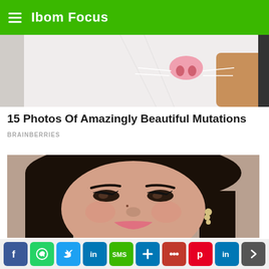Ibom Focus
[Figure (photo): Close-up photo of a white cat's nose and face, with a human hand visible]
15 Photos Of Amazingly Beautiful Mutations
BRAINBERRIES
[Figure (photo): Close-up portrait of a young Asian woman with dark hair, winged eyeliner, and pearl earrings]
Social sharing bar with Facebook, WhatsApp, Twitter, LinkedIn, SMS, Add, More, Pinterest, LinkedIn buttons